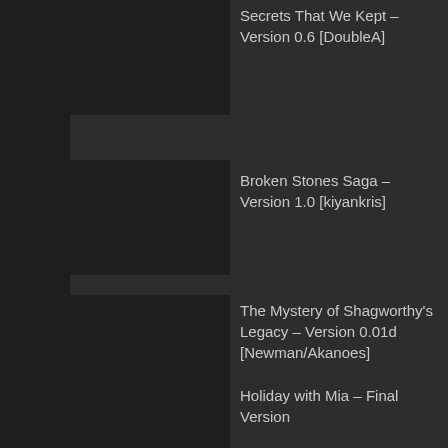Secrets That We Kept – Version 0.6 [DoubleA]
Broken Stones Saga – Version 1.0 [kiyankris]
The Mystery of Shagworthy's Legacy – Version 0.01d [Newman/Akanoes]
Holiday with Mia – Final Version